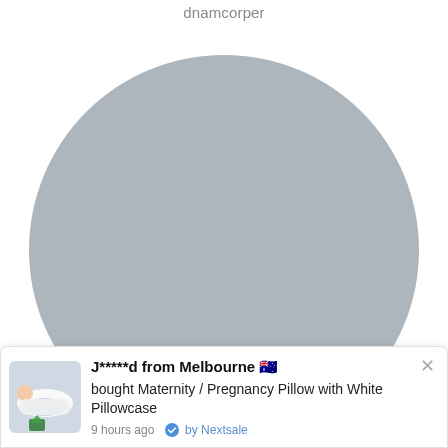dnamcorper
[Figure (illustration): Large grey circle (placeholder/avatar) centered on the page, partially cut off at the bottom]
[Figure (photo): Small thumbnail image of a person sleeping with a white maternity/pregnancy body pillow, with a green Christmas tree logo at the bottom left corner]
J*****d from Melbourne 🇦🇺
bought Maternity / Pregnancy Pillow with White Pillowcase
9 hours ago  ✔ by Nextsale